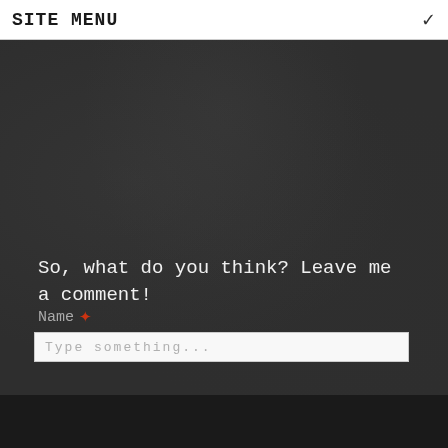SITE MENU
[Figure (screenshot): Dark chalkboard textured background area]
So, what do you think? Leave me a comment!
Name *
Type something...